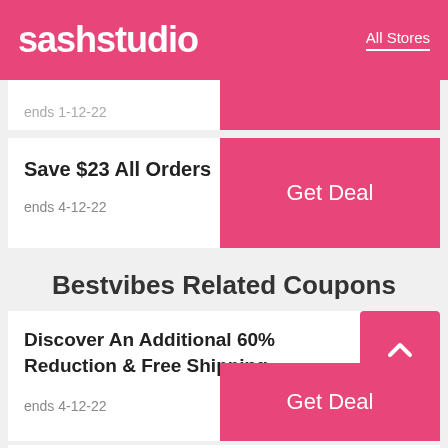sashstudio | All Stores
ends 1-12-22
Save $23 All Orders
ends 4-12-22
Bestvibes Related Coupons
Discover An Additional 60% Reduction & Free Shipping
ends 4-12-22
Tulleys Farm Coupons